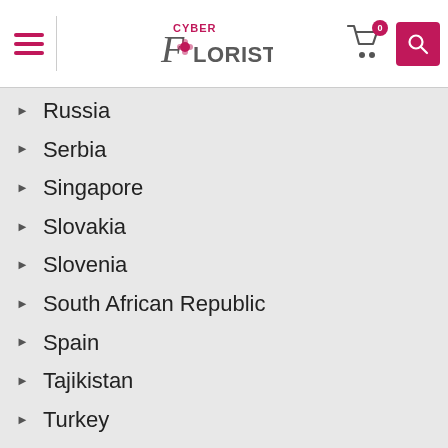[Figure (logo): CyberFlorist logo with stylized cursive F and flower icon, header navigation with hamburger menu, cart icon with badge showing 0, and search button]
Russia
Serbia
Singapore
Slovakia
Slovenia
South African Republic
Spain
Tajikistan
Turkey
Ukraine
United Arab Emirates
United Kingdom, The
USA
Uzbekistan
All Destinations